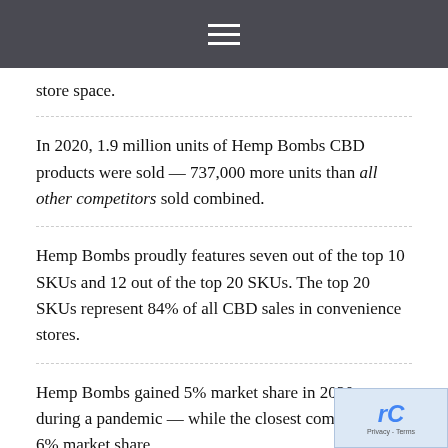≡
store space.
In 2020, 1.9 million units of Hemp Bombs CBD products were sold — 737,000 more units than all other competitors sold combined.
Hemp Bombs proudly features seven out of the top 10 SKUs and 12 out of the top 20 SKUs. The top 20 SKUs represent 84% of all CBD sales in convenience stores.
Hemp Bombs gained 5% market share in 2020 — even during a pandemic — while the closest competitor lost 6% market share.